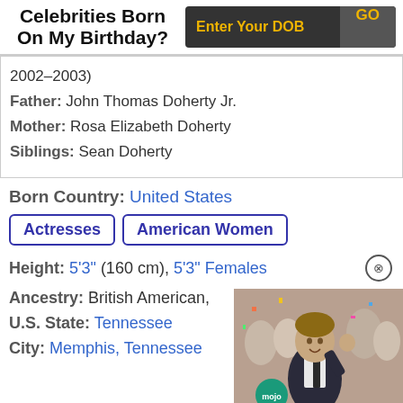Celebrities Born On My Birthday?
2002–2003)
Father: John Thomas Doherty Jr.
Mother: Rosa Elizabeth Doherty
Siblings: Sean Doherty
Born Country: United States
Actresses
American Women
Height: 5'3" (160 cm), 5'3" Females
Ancestry: British American,
U.S. State: Tennessee
City: Memphis, Tennessee
[Figure (photo): Man in suit at a party celebration, with mojo watermark]